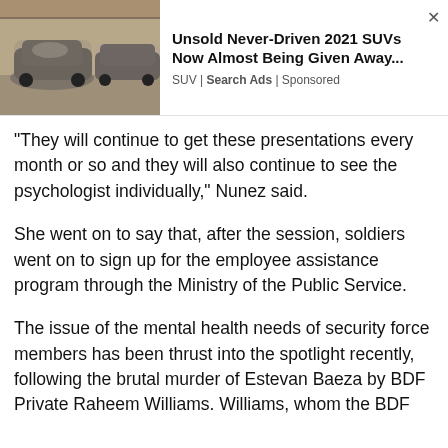[Figure (screenshot): Advertisement banner showing dusty/covered cars in a warehouse with text: Unsold Never-Driven 2021 SUVs Now Almost Being Given Away... SUV | Search Ads | Sponsored]
“They will continue to get these presentations every month or so and they will also continue to see the psychologist individually,” Nunez said.
She went on to say that, after the session, soldiers went on to sign up for the employee assistance program through the Ministry of the Public Service.
The issue of the mental health needs of security force members has been thrust into the spotlight recently, following the brutal murder of Estevan Baeza by BDF Private Raheem Williams. Williams, whom the BDF